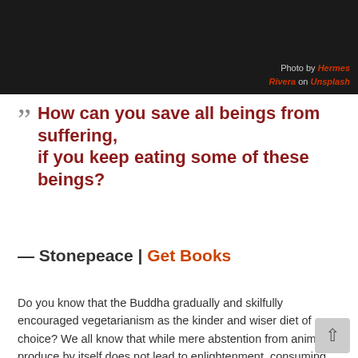[Figure (photo): Dark photograph of a person holding a plate, with a photo credit overlay reading 'Photo by Hermes Rivera on Unsplash']
How can you save all beings from suffering, if you keep eating some of these beings?
— Stonepeace | Get Books
Do you know that the Buddha gradually and skilfully encouraged vegetarianism as the kinder and wiser diet of choice? We all know that while mere abstention from animal produce by itself does not lead to enlightenment, consuming animal produce is a spiritual hindrance if it is due to continual greed for taste, lack of compassion and/or sustenance of delusion. Well, can you imagine a Buddha craving for a juicy burger made from a helpless cow? Of course not! Yet, every once in a while, I'm accused